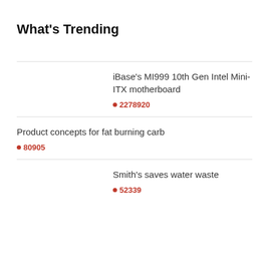What's Trending
iBase's MI999 10th Gen Intel Mini-ITX motherboard
🔴2278920
Product concepts for fat burning carb
🔴80905
Smith's saves water waste
🔴52339